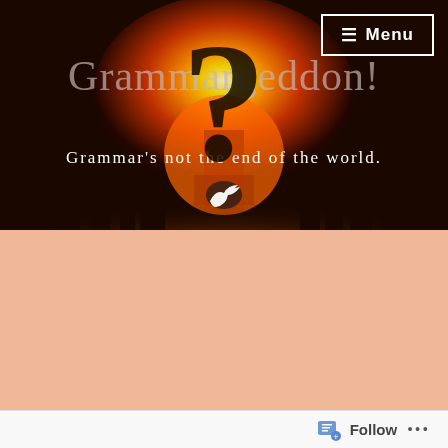[Figure (photo): Website header banner for Grammargeddon! blog with nuclear explosion background image in dark orange/red tones, a large question mark symbol, and Twitter bird icon]
Grammargeddon!
Grammar's not the end of the world.
≡ Menu
grammargeddonangel
in General, Grammar, Language, Plural forms, Usage, Word choice
⊙ January 4, 2019    ≡ 970 Words
Pronouns are
Follow ...